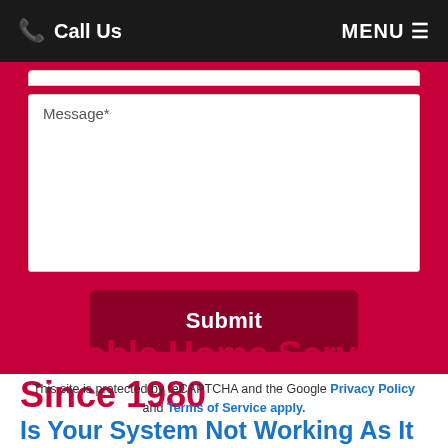Call Us   MENU
[Figure (screenshot): Web contact form with a Message* textarea and a dark red Submit button, set on a crimson/red card background]
This site is protected by reCAPTCHA and the Google Privacy Policy and Terms of Service apply.
Reliable Home Services Since 1980
Is Your System Not Working As It Should?